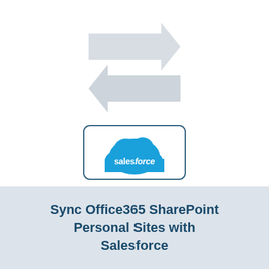[Figure (illustration): Two opposing horizontal arrows (sync/transfer icon) in light gray, pointing right and left, stacked vertically. Below is a rounded rectangle box with a Salesforce cloud logo (blue cloud shape with white 'salesforce' text).]
Sync Office365 SharePoint Personal Sites with Salesforce